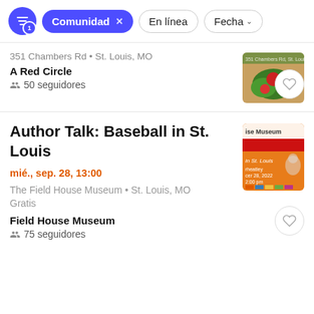Comunidad × | En línea | Fecha
351 Chambers Rd • St. Louis, MO
A Red Circle
50 seguidores
Author Talk: Baseball in St. Louis
mié., sep. 28, 13:00
The Field House Museum • St. Louis, MO
Gratis
Field House Museum
75 seguidores